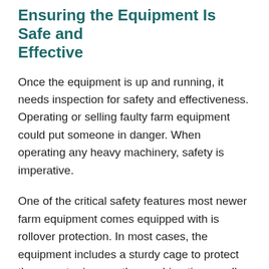Ensuring the Equipment Is Safe and Effective
Once the equipment is up and running, it needs inspection for safety and effectiveness. Operating or selling faulty farm equipment could put someone in danger. When operating any heavy machinery, safety is imperative.
One of the critical safety features most newer farm equipment comes equipped with is rollover protection. In most cases, the equipment includes a sturdy cage to protect the operator in case the machine tips or rolls while in use. Most old equipment does not have rollover protection, which could cause concern to the buyer. Older farm